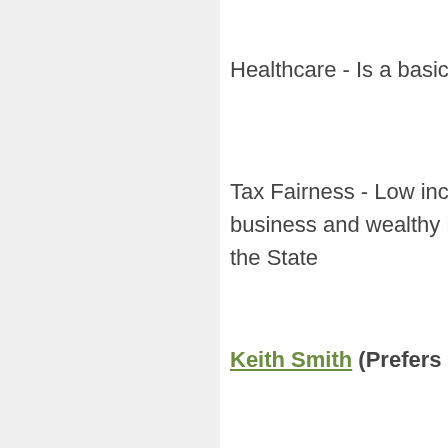Healthcare - Is a basic huma
Tax Fairness - Low income p business and wealthy individ the State
Keith Smith (Prefers Demo
Public health is the most imp essential worker, I know bus PPE, and sanitation will kee
Fully funding our mental hea from being social workers. W police to focus on violent cri